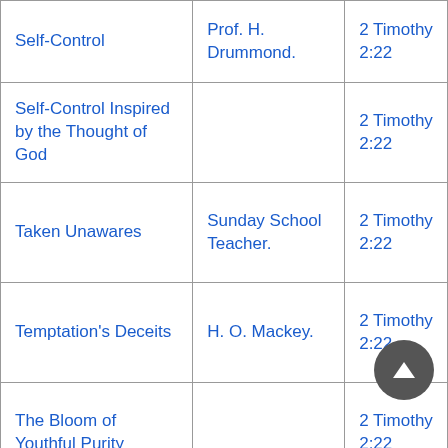| Self-Control | Prof. H. Drummond. | 2 Timothy 2:22 |
| Self-Control Inspired by the Thought of God |  | 2 Timothy 2:22 |
| Taken Unawares | Sunday School Teacher. | 2 Timothy 2:22 |
| Temptation's Deceits | H. O. Mackey. | 2 Timothy 2:22 |
| The Bloom of Youthful Purity |  | 2 Timothy 2:22 |
|  |  |  |